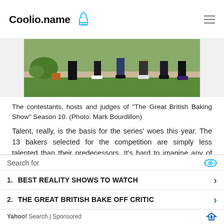Coolio.name
[Figure (photo): Lower bodies/feet of contestants, hosts, and judges of The Great British Baking Show seated outdoors on garden steps with grass in background]
The contestants, hosts and judges of "The Great British Baking Show" Season 10. (Photo: Mark Bourdillon)
Talent, really, is the basis for the series' woes this year. The 13 bakers selected for the competition are simply less talented than their predecessors. It's hard to imagine any of the remaining bakers
Search for
1.   BEST REALITY SHOWS TO WATCH
2.   THE GREAT BRITISH BAKE OFF CRITIC
Yahoo! Search | Sponsored